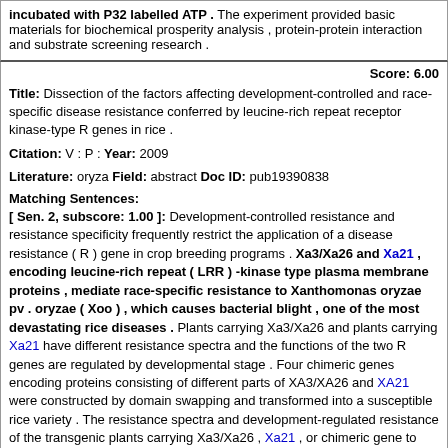incubated with P32 labelled ATP . The experiment provided basic materials for biochemical prosperity analysis , protein-protein interaction and substrate screening research .
Score: 6.00
Title: Dissection of the factors affecting development-controlled and race-specific disease resistance conferred by leucine-rich repeat receptor kinase-type R genes in rice .
Citation: V : P : Year: 2009
Literature: oryza Field: abstract Doc ID: pub19390838
Matching Sentences:
[ Sen. 2, subscore: 1.00 ]: Development-controlled resistance and resistance specificity frequently restrict the application of a disease resistance ( R ) gene in crop breeding programs . Xa3/Xa26 and Xa21 , encoding leucine-rich repeat ( LRR ) -kinase type plasma membrane proteins , mediate race-specific resistance to Xanthomonas oryzae pv . oryzae ( Xoo ) , which causes bacterial blight , one of the most devastating rice diseases . Plants carrying Xa3/Xa26 and plants carrying Xa21 have different resistance spectra and the functions of the two R genes are regulated by developmental stage . Four chimeric genes encoding proteins consisting of different parts of XA3/XA26 and XA21 were constructed by domain swapping and transformed into a susceptible rice variety . The resistance spectra and development-regulated resistance of the transgenic plants carrying Xa3/Xa26 , Xa21 , or chimeric gene to different Xoo strains were analyzed in the same genetic background . The results suggest that the gradually increased expression of Xa3/Xa26 and Xa21 plays an important role in the progressively enhanced Xoo resistance during rice development . In addition , the LRR domains of XA3/XA26 and XA21 are important